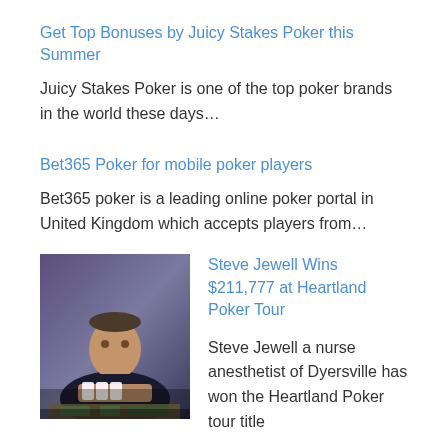Get Top Bonuses by Juicy Stakes Poker this Summer
Juicy Stakes Poker is one of the top poker brands in the world these days…
Bet365 Poker for mobile poker players
Bet365 poker is a leading online poker portal in United Kingdom which accepts players from…
[Figure (photo): Photo of Steve Jewell holding playing cards at a poker tournament, with chips and money on the table in front of him.]
Steve Jewell Wins $211,777 at Heartland Poker Tour
Steve Jewell a nurse anesthetist of Dyersville has won the Heartland Poker tour title